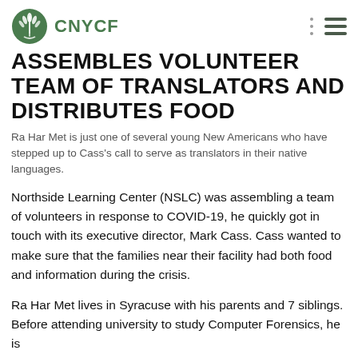CNYCF
ASSEMBLES VOLUNTEER TEAM OF TRANSLATORS AND DISTRIBUTES FOOD
Ra Har Met is just one of several young New Americans who have stepped up to Cass's call to serve as translators in their native languages.
Northside Learning Center (NSLC) was assembling a team of volunteers in response to COVID-19, he quickly got in touch with its executive director, Mark Cass. Cass wanted to make sure that the families near their facility had both food and information during the crisis.
Ra Har Met lives in Syracuse with his parents and 7 siblings. Before attending university to study Computer Forensics, he is